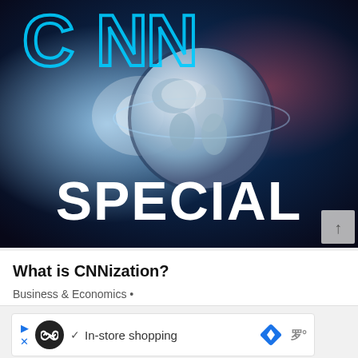[Figure (screenshot): CNN Special broadcast graphic showing large white 'CNN' letters at top in neon-outline style, a globe/Earth in the center with blue and dark background with light beams, and large bold white 'SPECIAL' text at the bottom. A scroll-up arrow button appears in the bottom-right corner.]
What is CNNization?
Business & Economics •
[Figure (screenshot): Advertisement bar showing: left arrow and X icons in blue, a black circle with infinity-like logo, a checkmark followed by 'In-store shopping' text, a blue diamond/navigation icon, and a Wi-Fi style signal icon with degree symbol.]